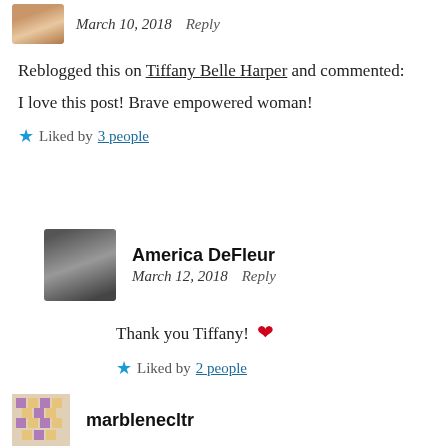March 10, 2018   Reply
Reblogged this on Tiffany Belle Harper and commented:
I love this post! Brave empowered woman!
Liked by 3 people
America DeFleur
March 12, 2018   Reply
Thank you Tiffany! ❤
Liked by 2 people
marblenecltr